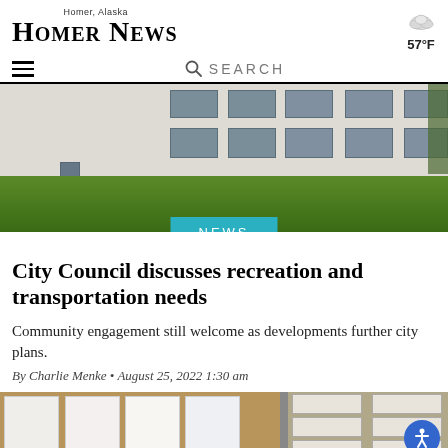Homer News — Homer, Alaska — 57°F
[Figure (photo): Exterior photo of a white government/school building with large windows, green lawn in foreground, overcast sky]
NEWS
City Council discusses recreation and transportation needs
Community engagement still welcome as developments further city plans.
By Charlie Menke • August 25, 2022 1:30 am
[Figure (photo): Indoor bulletin board with flyers and papers posted, file holders on right side, accessibility button visible in bottom right]